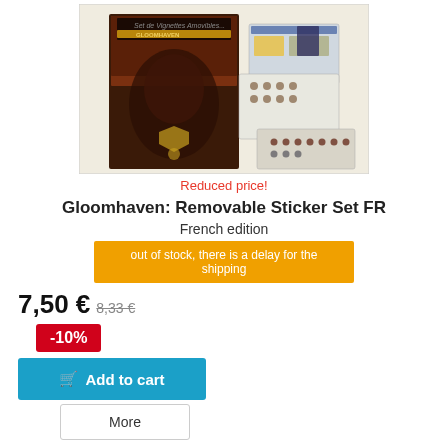[Figure (photo): Product photo of Gloomhaven Removable Sticker Set FR showing the box cover and sticker sheets]
Reduced price!
Gloomhaven: Removable Sticker Set FR
French edition
out of stock, there is a delay for the shipping
7,50 € 8,33 €
-10%
Add to cart
More